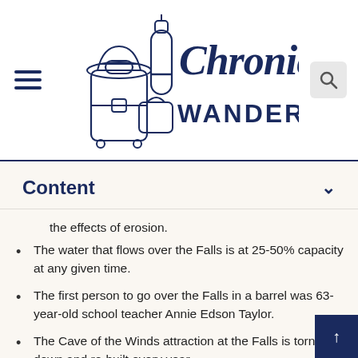[Figure (logo): Chronic Wanderlust travel blog logo with illustrated luggage, scuba tank, and hat on left; stylized script 'Chronic Wanderlust' text on right. Hamburger menu icon on far left, search icon on far right.]
Content
the effects of erosion.
The water that flows over the Falls is at 25-50% capacity at any given time.
The first person to go over the Falls in a barrel was 63-year-old school teacher Annie Edson Taylor.
The Cave of the Winds attraction at the Falls is torn down and re-built every year.
Niagara Falls State Park is the oldest State Park in the United States.
The birth of Niagara Falls can be traced back more than 12,000 years to the end of the last glacial period.
Despite myths to the contrary, Niagara Falls does not freeze in the winter. However, the flow of water was reduced to a mere trickle for a few hours on March